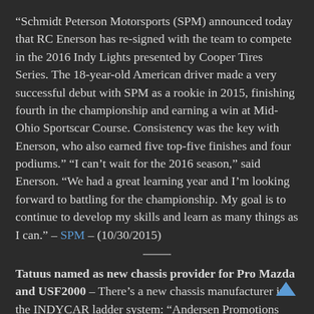“Schmidt Peterson Motorsports (SPM) announced today that RC Enerson has re-signed with the team to compete in the 2016 Indy Lights presented by Cooper Tires Series. The 18-year-old American driver made a very successful debut with SPM as a rookie in 2015, finishing fourth in the championship and earning a win at Mid-Ohio Sportscar Course. Consistency was the key with Enerson, who also earned five top-five finishes and four podiums.” “I can’t wait for the 2016 season,” said Enerson. “We had a great learning year and I’m looking forward to battling for the championship. My goal is to continue to develop my skills and learn as many things as I can.” – SPM – (10/30/2015)
Tatuus named as new chassis provider for Pro Mazda and USF2000 – There’s a new chassis manufacturer in the INDYCAR ladder system: “Andersen Promotions today announced that Tatuus has been chosen to design and manufacture the next generation of chassis for the first two rungs…”